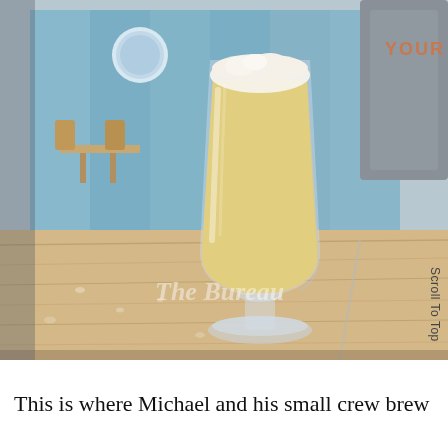[Figure (photo): A glass of hazy pale yellow beer with a white foam head sitting on a wooden bar top. The background shows a blue-walled interior with tables and chairs. A bottle with 'YOUR' text is visible in the top right. A watermark reading 'The Bureau' is visible at the bottom center of the photo. A vertical 'Scroll To Top' label appears on the right side.]
This is where Michael and his small crew brew